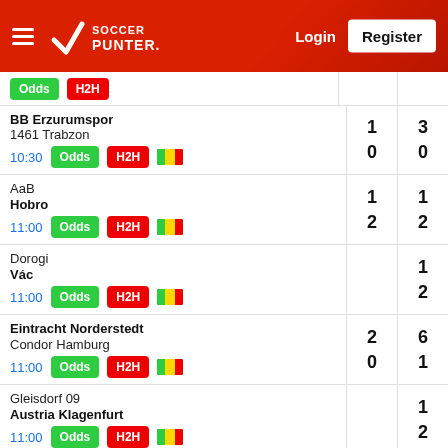Soccer Punter — Login | Register
| Match | Odds | H2H | Flag | Score1 | Score2 |
| --- | --- | --- | --- | --- | --- |
| BB Erzurumspor / 1461 Trabzon | Odds | H2H |  | 1 / 0 | 3 / 0 |
| AaB / Hobro | Odds | H2H |  | 1 / 2 | 1 / 2 |
| Dorogi / Vác | Odds | H2H |  |  | 1 / 2 |
| Eintracht Norderstedt / Condor Hamburg | Odds | H2H |  | 2 / 0 | 6 / 1 |
| Gleisdorf 09 / Austria Klagenfurt | Odds | H2H |  |  | 1 / 2 |